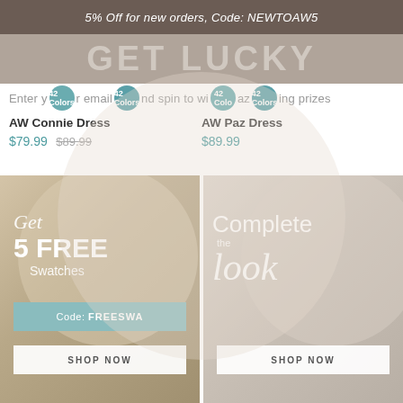5% Off for new orders, Code: NEWTOAW5
GET LUCKY
Enter your email and spin to win amazing prizes
42 Colors
AW Connie Dress
$79.99  $89.99
AW Paz Dress
$89.99
[Figure (photo): Left promo banner: Get 5 FREE Swatches, Code FREESWA, SHOP NOW button, fabric swatches background]
[Figure (photo): Right promo banner: Complete the look, SHOP NOW button, floral background]